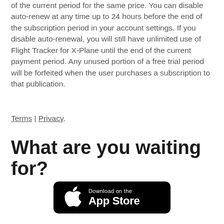of the current period for the same price. You can disable auto-renew at any time up to 24 hours before the end of the subscription period in your account settings. If you disable auto-renewal, you will still have unlimited use of Flight Tracker for X-Plane until the end of the current payment period. Any unused portion of a free trial period will be forfeited when the user purchases a subscription to that publication.
Terms | Privacy.
What are you waiting for?
[Figure (illustration): Download on the App Store button — black rounded rectangle with Apple logo and text 'Download on the App Store']